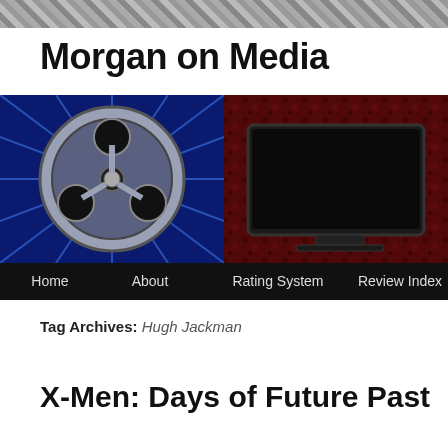Morgan on Media
[Figure (screenshot): Website banner image showing a film reel on a blue starburst background on the left half, and a flat-screen TV on a dark red textured background on the right half. Below the images is a dark navigation bar with links: Home, About, Rating System, Review Index.]
Tag Archives: Hugh Jackman
X-Men: Days of Future Past